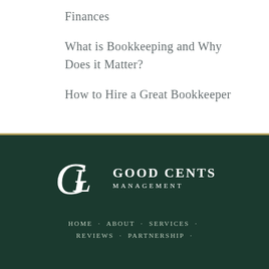Finances
What is Bookkeeping and Why Does it Matter?
How to Hire a Great Bookkeeper
[Figure (logo): Good Cents Management logo with stylized GC monogram on dark green background]
HOME · ABOUT · SERVICES · REVIEWS · PARTNERSHIP ·